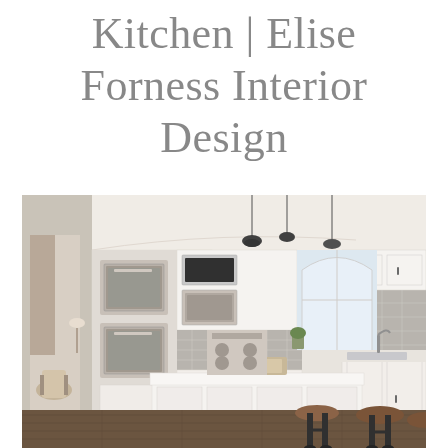Kitchen | Elise Forness Interior Design
[Figure (photo): Bright white kitchen interior with white shaker-style cabinets, stainless steel double wall ovens and microwave, large kitchen island with white quartz countertop, gray subway tile backsplash, pendant lights, arched windows, dark hardwood floors, and brown leather bar stools.]